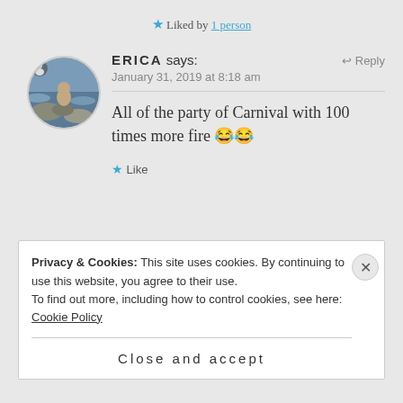★ Liked by 1 person
[Figure (photo): Circular avatar photo of a person on rocks near water]
ERICA says:
↩ Reply
January 31, 2019 at 8:18 am
All of the party of Carnival with 100 times more fire 😂😂
★ Like
Privacy & Cookies: This site uses cookies. By continuing to use this website, you agree to their use.
To find out more, including how to control cookies, see here: Cookie Policy
Close and accept